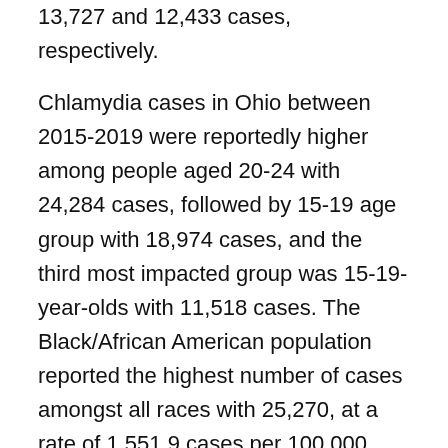13,727 and 12,433 cases, respectively.
Chlamydia cases in Ohio between 2015-2019 were reportedly higher among people aged 20-24 with 24,284 cases, followed by 15-19 age group with 18,974 cases, and the third most impacted group was 15-19-year-olds with 11,518 cases. The Black/African American population reported the highest number of cases amongst all races with 25,270, at a rate of 1,551.9 cases per 100,000 persons. This number was reasonably low in 2015, with 21,400 African-American individuals reporting the disease. The white population recorded 22,090 cases overall in 2019, while in 2015, this number was lower at 18,941 cases overall. Gender comparison reveals that females were more impacted by chlamydia, with 43,789 cases on the whole, whereas